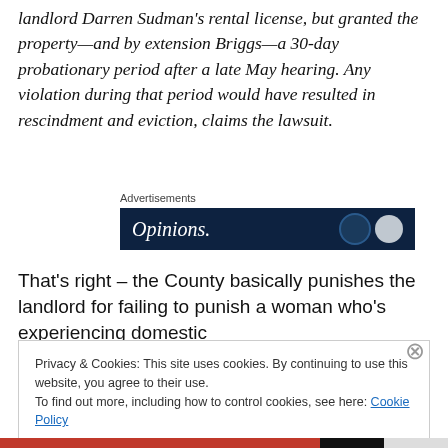landlord Darren Sudman's rental license, but granted the property—and by extension Briggs—a 30-day probationary period after a late May hearing. Any violation during that period would have resulted in rescindment and eviction, claims the lawsuit.
Advertisements
[Figure (other): Advertisement banner with dark navy background showing the word 'Opinions.' in white italic text and two circular logos on the right]
That's right – the County basically punishes the landlord for failing to punish a woman who's experiencing domestic
Privacy & Cookies: This site uses cookies. By continuing to use this website, you agree to their use.
To find out more, including how to control cookies, see here: Cookie Policy
Close and accept